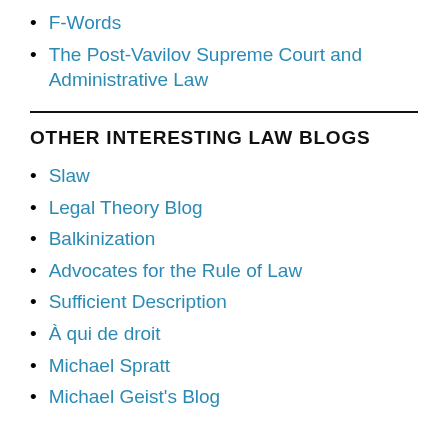F-Words
The Post-Vavilov Supreme Court and Administrative Law
OTHER INTERESTING LAW BLOGS
Slaw
Legal Theory Blog
Balkinization
Advocates for the Rule of Law
Sufficient Description
À qui de droit
Michael Spratt
Michael Geist's Blog